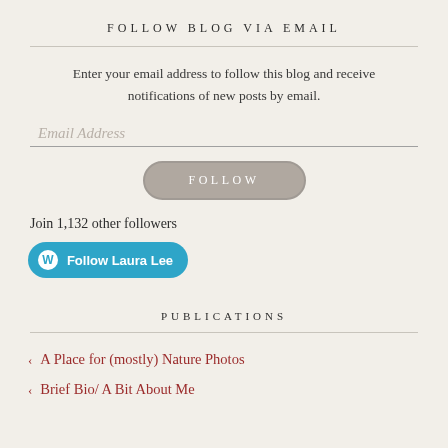FOLLOW BLOG VIA EMAIL
Enter your email address to follow this blog and receive notifications of new posts by email.
Email Address
FOLLOW
Join 1,132 other followers
[Figure (other): WordPress Follow button — blue rounded button with WP logo and text 'Follow Laura Lee']
PUBLICATIONS
A Place for (mostly) Nature Photos
Brief Bio/ A Bit About Me